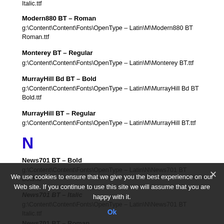Italic.ttf
Modern880 BT – Roman
g:\Content\Content\Fonts\OpenType – Latin\M\Modern880 BT Roman.ttf
Monterey BT – Regular
g:\Content\Content\Fonts\OpenType – Latin\M\Monterey BT.ttf
MurrayHill Bd BT – Bold
g:\Content\Content\Fonts\OpenType – Latin\M\MurrayHill Bd BT Bold.ttf
MurrayHill BT – Regular
g:\Content\Content\Fonts\OpenType – Latin\M\MurrayHill BT.ttf
N
News701 BT – Bold
g:\Content\Content\Fonts\OpenType – Latin\N\News701 BT Bold.ttf
News701 BT – Italic
g:\Content\Content\Fonts\OpenType – Latin\N\News701 BT Italic.ttf
News701 BT – Roman